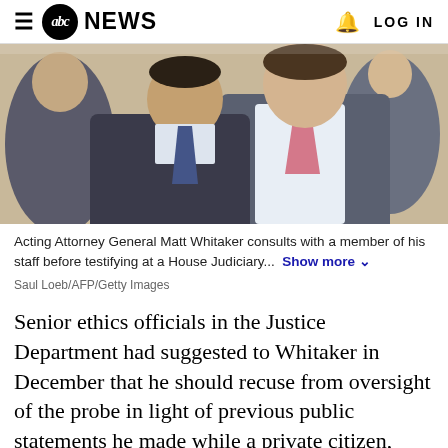≡ abc NEWS  🔔 LOG IN
[Figure (photo): Acting Attorney General Matt Whitaker consulting with a staff member, both in suits, Whitaker wearing a pink tie, before testifying at a House Judiciary hearing.]
Acting Attorney General Matt Whitaker consults with a member of his staff before testifying at a House Judiciary... Show more
Saul Loeb/AFP/Getty Images
Senior ethics officials in the Justice Department had suggested to Whitaker in December that he should recuse from oversight of the probe in light of previous public statements he made while a private citizen, including an assertion that Mueller's